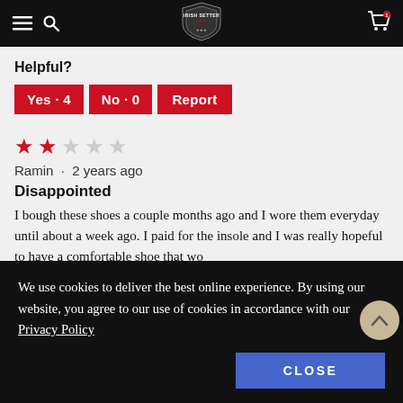Irish Setter [logo with navigation icons and cart]
Helpful?
Yes · 4
No · 0
Report
[Figure (other): 2 out of 5 stars rating (2 red stars, 3 grey stars)]
Ramin · 2 years ago
Disappointed
I bough these shoes a couple months ago and I wore them everyday until about a week ago. I paid for the insole and I was really hopeful to have a comfortable shoe that wo
We use cookies to deliver the best online experience. By using our website, you agree to our use of cookies in accordance with our Privacy Policy
CLOSE